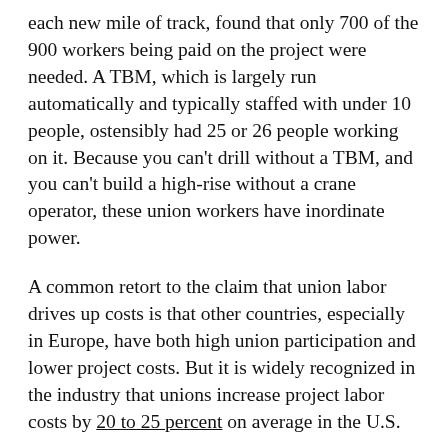each new mile of track, found that only 700 of the 900 workers being paid on the project were needed. A TBM, which is largely run automatically and typically staffed with under 10 people, ostensibly had 25 or 26 people working on it. Because you can't drill without a TBM, and you can't build a high-rise without a crane operator, these union workers have inordinate power.
A common retort to the claim that union labor drives up costs is that other countries, especially in Europe, have both high union participation and lower project costs. But it is widely recognized in the industry that unions increase project labor costs by 20 to 25 percent on average in the U.S.
The fundamental problem isn't unions per se, but rather the way that unions operate within parts of the U.S. system. The Netherlands has strong unions,